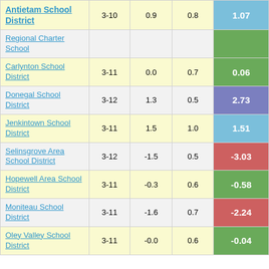| District | Grades | Col3 | Col4 | Score |
| --- | --- | --- | --- | --- |
| Antietam School District | 3-10 | 0.9 | 0.8 | 1.07 |
| Regional Charter School |  |  |  |  |
| Carlynton School District | 3-11 | 0.0 | 0.7 | 0.06 |
| Donegal School District | 3-12 | 1.3 | 0.5 | 2.73 |
| Jenkintown School District | 3-11 | 1.5 | 1.0 | 1.51 |
| Selinsgrove Area School District | 3-12 | -1.5 | 0.5 | -3.03 |
| Hopewell Area School District | 3-11 | -0.3 | 0.6 | -0.58 |
| Moniteau School District | 3-11 | -1.6 | 0.7 | -2.24 |
| Oley Valley School District | 3-11 | -0.0 | 0.6 | -0.04 |